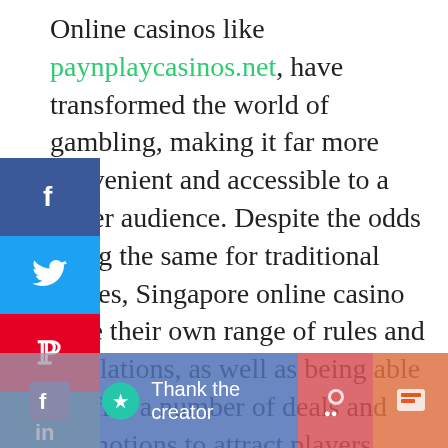Online casinos like paynplaycasinos.net, have transformed the world of gambling, making it far more convenient and accessible to a wider audience. Despite the odds being the same for traditional games, Singapore online casino have their own range of rules and regulations, as well as being able to offer a number of deals and promotions to attract players. Here, we take a look at some interesting facts relating to online casinos, some of which may even convince you to give one a whirl yourself.
[Figure (other): Social media sharing sidebar with Facebook, Twitter, Pinterest, LinkedIn, Yummly, and Flipboard buttons]
[Figure (other): Bottom share bar with social icons and 'Thank the creator' button]